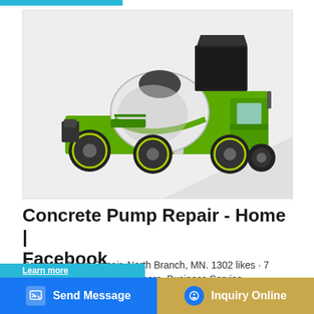[Figure (photo): A green self-loading concrete mixer truck with a white and black drum, photographed on a light grey background. The vehicle has four large off-road tires and a black hopper on top.]
Concrete Pump Repair - Home | Facebook
Concrete Pump Repair, North Branch, MN. 1302 likes · 7 talking about this · 15 were here. Business Service
Send Message
Inquiry Online